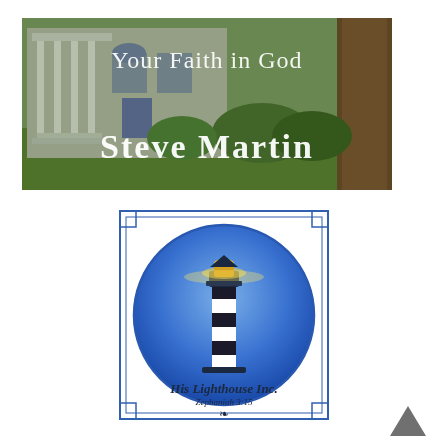[Figure (photo): Book cover showing a house with porch and columns, green lawn, trees. Text overlaid: 'Your Faith in God' and 'Steve Martin']
[Figure (logo): His Lighthouse Inc. logo: circular blue gradient with lighthouse illustration, decorative square border, text 'His Lighthouse Inc.' and 'Zephaniah 3:15', decorative laurel at bottom]